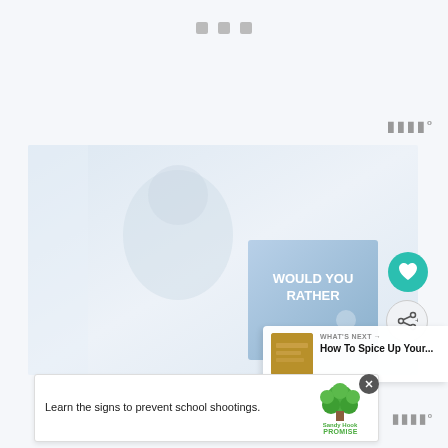[Figure (screenshot): Website screenshot showing a woman reading with a child, overlaid with a book cover reading 'Would You Rather', along with UI elements including heart and share buttons, a What's Next panel showing 'How To Spice Up Your...', navigation dots at the top, and an advertisement banner at the bottom for Sandy Hook Promise reading 'Learn the signs to prevent school shootings.']
WHAT'S NEXT → How To Spice Up Your...
Learn the signs to prevent school shootings.